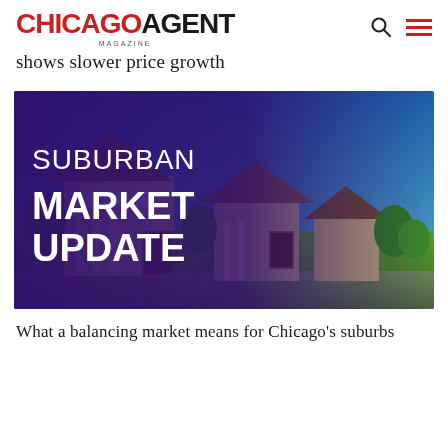CHICAGO AGENT MAGAZINE
shows slower price growth
[Figure (illustration): Suburban Market Update banner image showing a row of large suburban homes under a blue sky, with bold white text overlay reading 'SUBURBAN MARKET UPDATE' on a dark purple background on the left side.]
What a balancing market means for Chicago’s suburbs